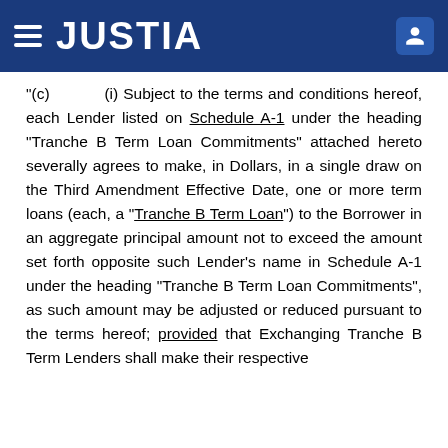JUSTIA
“(c)         (i) Subject to the terms and conditions hereof, each Lender listed on Schedule A-1 under the heading “Tranche B Term Loan Commitments” attached hereto severally agrees to make, in Dollars, in a single draw on the Third Amendment Effective Date, one or more term loans (each, a “Tranche B Term Loan”) to the Borrower in an aggregate principal amount not to exceed the amount set forth opposite such Lender’s name in Schedule A-1 under the heading “Tranche B Term Loan Commitments”, as such amount may be adjusted or reduced pursuant to the terms hereof; provided that Exchanging Tranche B Term Lenders shall make their respective